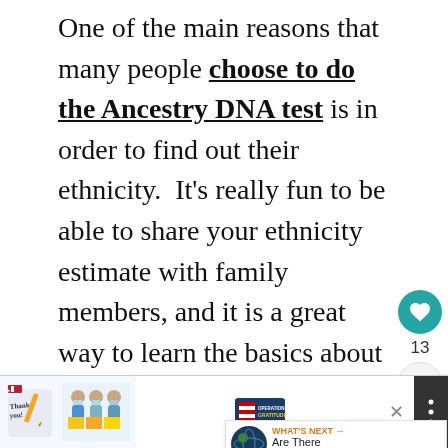One of the main reasons that many people choose to do the Ancestry DNA test is in order to find out their ethnicity. It's really fun to be able to share your ethnicity estimate with family members, and it is a great way to learn the basics about where your ancestors may have lived over the past several hundred years.
Ancestry is able to get your ethnicity estimate by creating unique regional profiles using thousands of DNA samples f...
[Figure (screenshot): Advertisement banner at the bottom showing a 'thank you' image with people holding signs and Operation Gratitude logo, with a close button and menu dots]
[Figure (infographic): What's Next widget showing a globe icon with label 'WHAT'S NEXT →' and text 'Are There Ancestry DN...']